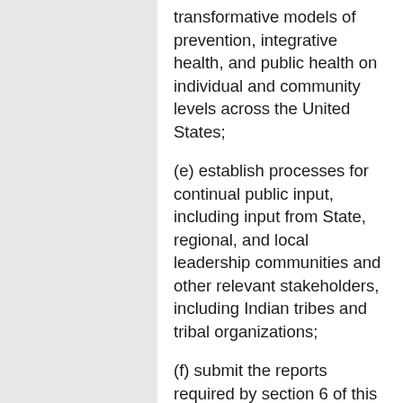transformative models of prevention, integrative health, and public health on individual and community levels across the United States;
(e) establish processes for continual public input, including input from State, regional, and local leadership communities and other relevant stakeholders, including Indian tribes and tribal organizations;
(f) submit the reports required by section 6 of this order; and
(g) carry out such other activities as are determined appropriate by the President.
Sec. 4.Advisory Group.
(a) There is established within the Department of Health and Human